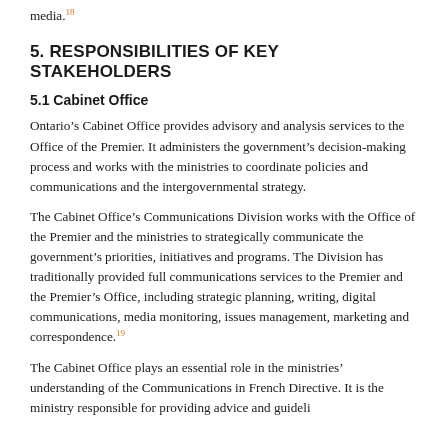media.¹18
5. RESPONSIBILITIES OF KEY STAKEHOLDERS
5.1 Cabinet Office
Ontario’s Cabinet Office provides advisory and analysis services to the Office of the Premier. It administers the government’s decision-making process and works with the ministries to coordinate policies and communications and the intergovernmental strategy.
The Cabinet Office’s Communications Division works with the Office of the Premier and the ministries to strategically communicate the government’s priorities, initiatives and programs. The Division has traditionally provided full communications services to the Premier and the Premier’s Office, including strategic planning, writing, digital communications, media monitoring, issues management, marketing and correspondence.¹19
The Cabinet Office plays an essential role in the ministries’ understanding of the Communications in French Directive. It is the ministry responsible for providing advice and guidelines…